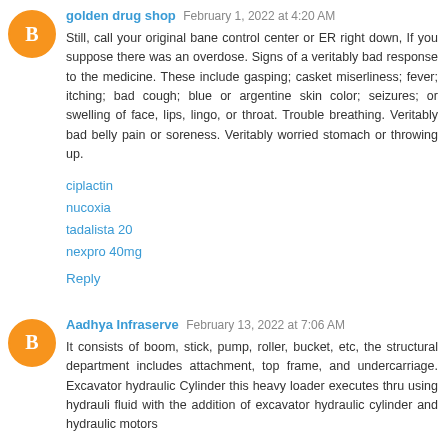golden drug shop  February 1, 2022 at 4:20 AM
Still, call your original bane control center or ER right down, If you suppose there was an overdose. Signs of a veritably bad response to the medicine. These include gasping; casket miserliness; fever; itching; bad cough; blue or argentine skin color; seizures; or swelling of face, lips, lingo, or throat. Trouble breathing. Veritably bad belly pain or soreness. Veritably worried stomach or throwing up.
ciplactin
nucoxia
tadalista 20
nexpro 40mg
Reply
Aadhya Infraserve  February 13, 2022 at 7:06 AM
It consists of boom, stick, pump, roller, bucket, etc, the structural department includes attachment, top frame, and undercarriage. Excavator hydraulic Cylinder this heavy loader executes thru using hydrauli fluid with the addition of excavator hydraulic cylinder and hydraulic motors